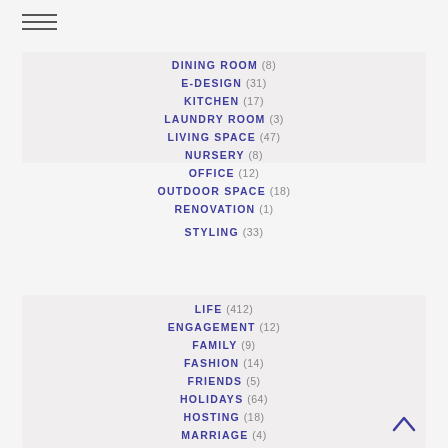DINING ROOM (8)
E-DESIGN (31)
KITCHEN (17)
LAUNDRY ROOM (3)
LIVING SPACE (47)
NURSERY (8)
OFFICE (12)
OUTDOOR SPACE (18)
RENOVATION (1)
STYLING (33)
LIFE (412)
ENGAGEMENT (12)
FAMILY (9)
FASHION (14)
FRIENDS (5)
HOLIDAYS (64)
HOSTING (18)
MARRIAGE (4)
MOTHERHOOD (4)